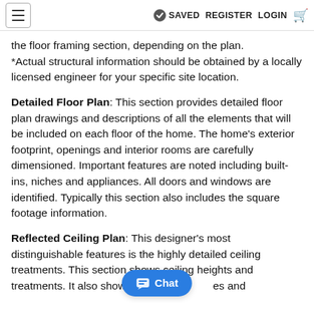≡  ✓ SAVED  REGISTER  LOGIN  🛒
the floor framing section, depending on the plan. *Actual structural information should be obtained by a locally licensed engineer for your specific site location.
Detailed Floor Plan: This section provides detailed floor plan drawings and descriptions of all the elements that will be included on each floor of the home. The home's exterior footprint, openings and interior rooms are carefully dimensioned. Important features are noted including built-ins, niches and appliances. All doors and windows are identified. Typically this section also includes the square footage information.
Reflected Ceiling Plan: This designer's most distinguishable features is the highly detailed ceiling treatments. This section shows ceiling heights and treatments. It also shows the d[Chat]es and